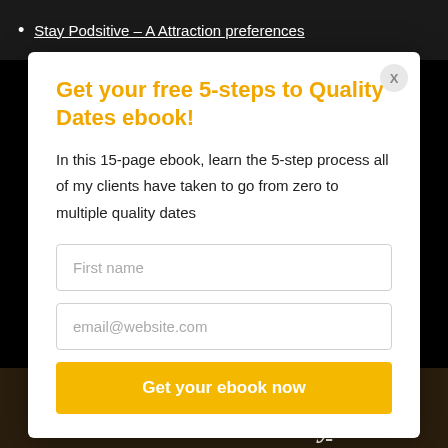Stay Podsitive – A Attraction preferences
Get your free 5-steps to Quality Dates ebook!
In this 15-page ebook, learn the 5-step process all of my clients have taken to go from zero to multiple quality dates
First name
email@website.com
Get your ebook now
Join a community